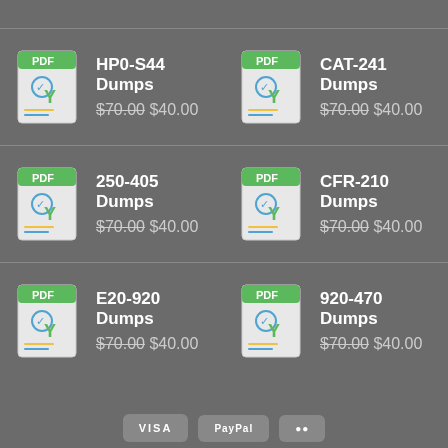HP0-S44 Dumps $70.00 $40.00
CAT-241 Dumps $70.00 $40.00
250-405 Dumps $70.00 $40.00
CFR-210 Dumps $70.00 $40.00
E20-920 Dumps $70.00 $40.00
920-470 Dumps $70.00 $40.00
VISA PayPal [payment icons]